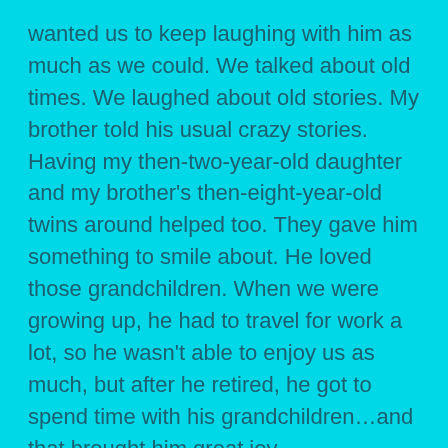wanted us to keep laughing with him as much as we could. We talked about old times. We laughed about old stories. My brother told his usual crazy stories. Having my then-two-year-old daughter and my brother's then-eight-year-old twins around helped too. They gave him something to smile about. He loved those grandchildren. When we were growing up, he had to travel for work a lot, so he wasn't able to enjoy us as much, but after he retired, he got to spend time with his grandchildren…and that brought him great joy.
Incredibly, we have a lot of happy memories from his illness. He turned 68 a few weeks before he died. His brothers and sister came over to Alabama from Florida to be with him on his birthday. He didn't know they were coming, and when we awoke from a nap to